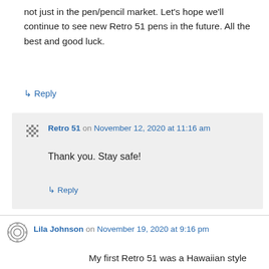not just in the pen/pencil market. Let's hope we'll continue to see new Retro 51 pens in the future. All the best and good luck.
↳ Reply
Retro 51 on November 12, 2020 at 11:16 am
Thank you. Stay safe!
↳ Reply
Lila Johnson on November 19, 2020 at 9:16 pm
My first Retro 51 was a Hawaiian style design; a repetitive image of a woman doing the hula. The pen has a yellow-gold tone body with the above